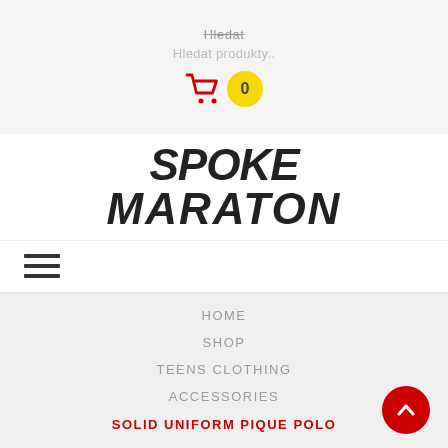Hledat (strikethrough) / Hledat produkty..
[Figure (infographic): Shopping cart icon with yellow badge showing 0]
[Figure (logo): SPOKE MARATON logo in bold italic black text]
[Figure (infographic): Hamburger menu icon with three horizontal lines]
HOME
SHOP
TEENS CLOTHING
ACCESSORIES
SOLID UNIFORM PIQUE POLO
[Figure (infographic): Red circle back-to-top button with upward chevron arrow]